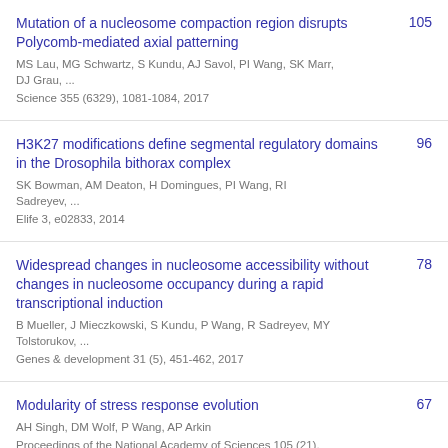Mutation of a nucleosome compaction region disrupts Polycomb-mediated axial patterning
MS Lau, MG Schwartz, S Kundu, AJ Savol, PI Wang, SK Marr, DJ Grau, ...
Science 355 (6329), 1081-1084, 2017
105
H3K27 modifications define segmental regulatory domains in the Drosophila bithorax complex
SK Bowman, AM Deaton, H Domingues, PI Wang, RI Sadreyev, ...
Elife 3, e02833, 2014
96
Widespread changes in nucleosome accessibility without changes in nucleosome occupancy during a rapid transcriptional induction
B Mueller, J Mieczkowski, S Kundu, P Wang, R Sadreyev, MY Tolstorukov, ...
Genes & development 31 (5), 451-462, 2017
78
Modularity of stress response evolution
AH Singh, DM Wolf, P Wang, AP Arkin
Proceedings of the National Academy of Sciences 105 (21), 7500-7505, 2008
67